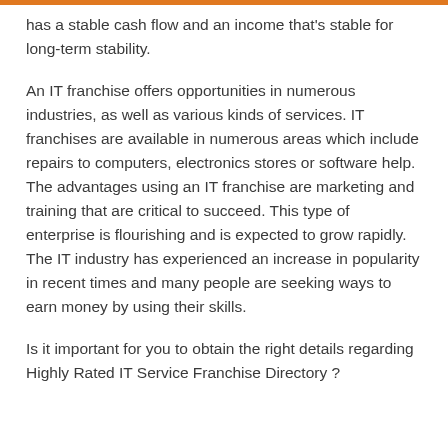has a stable cash flow and an income that's stable for long-term stability.
An IT franchise offers opportunities in numerous industries, as well as various kinds of services. IT franchises are available in numerous areas which include repairs to computers, electronics stores or software help. The advantages using an IT franchise are marketing and training that are critical to succeed. This type of enterprise is flourishing and is expected to grow rapidly. The IT industry has experienced an increase in popularity in recent times and many people are seeking ways to earn money by using their skills.
Is it important for you to obtain the right details regarding Highly Rated IT Service Franchise Directory ?